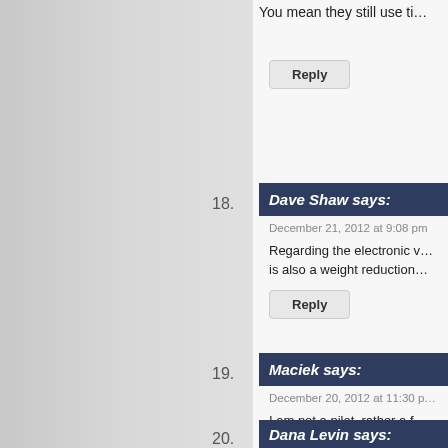You mean they still use ti…
Reply
18. Dave Shaw says:
December 21, 2012 at 9:08 pm
Regarding the electronic … is also a weight reduction…
Reply
19. Maciek says:
December 20, 2012 at 11:30 p…
I am not a pilot, rather a f… maiden flight from Warsa…
Great plane! Far better th…
Reply
20. Dana Levin says: